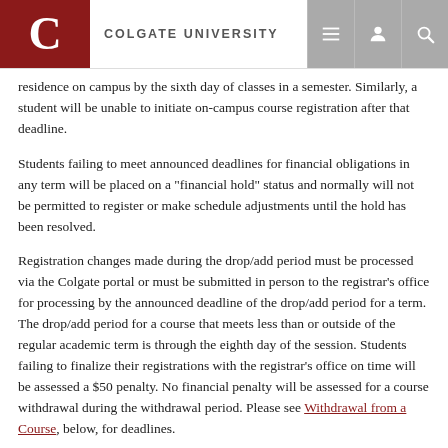COLGATE UNIVERSITY
residence on campus by the sixth day of classes in a semester. Similarly, a student will be unable to initiate on-campus course registration after that deadline.
Students failing to meet announced deadlines for financial obligations in any term will be placed on a "financial hold" status and normally will not be permitted to register or make schedule adjustments until the hold has been resolved.
Registration changes made during the drop/add period must be processed via the Colgate portal or must be submitted in person to the registrar’s office for processing by the announced deadline of the drop/add period for a term. The drop/add period for a course that meets less than or outside of the regular academic term is through the eighth day of the session. Students failing to finalize their registrations with the registrar’s office on time will be assessed a $50 penalty. No financial penalty will be assessed for a course withdrawal during the withdrawal period. Please see Withdrawal from a Course, below, for deadlines.
Students are not permitted to modify their course schedule after the end of the drop/add period, except with special permission granted by the Committee on Standards and Academic Standing (CSAS).